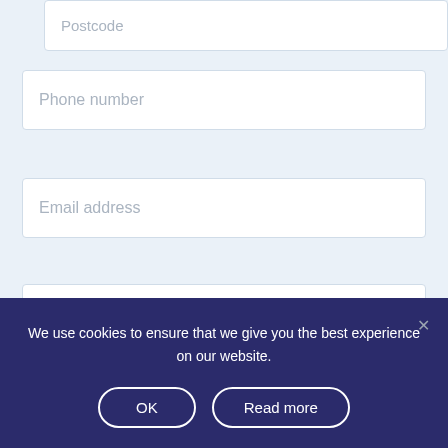Postcode
Phone number
Email address
Property Type...
Number of bedrooms
We use cookies to ensure that we give you the best experience on our website.
OK
Read more